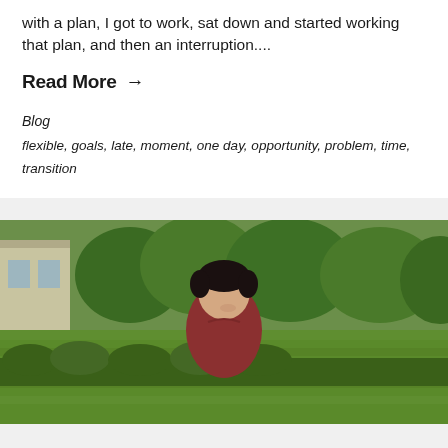with a plan, I got to work, sat down and started working that plan, and then an interruption....
Read More →
Blog
flexible, goals, late, moment, one day, opportunity, problem, time, transition
[Figure (photo): Man in red polo shirt standing in a green lawn with shrubs and a house in the background, looking downward]